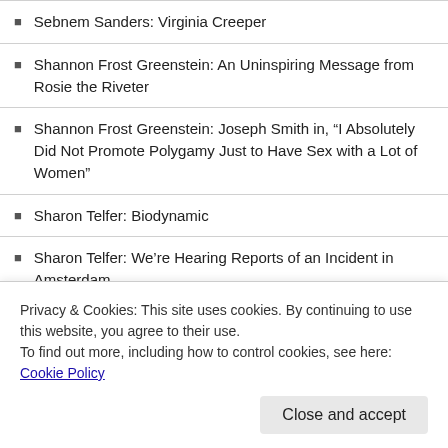Sebnem Sanders: Virginia Creeper
Shannon Frost Greenstein: An Uninspiring Message from Rosie the Riveter
Shannon Frost Greenstein: Joseph Smith in, “I Absolutely Did Not Promote Polygamy Just to Have Sex with a Lot of Women”
Sharon Telfer: Biodynamic
Sharon Telfer: We’re Hearing Reports of an Incident in Amsterdam
Sheldon Lee Compton: Straw
Simon Pinkerton: Expose the Member
Simon Pinkerton: Giant Hardcore Defender-Man with Moving Eyes, Magnified Insecurities
Simon Pinkerton: Supernature
Privacy & Cookies: This site uses cookies. By continuing to use this website, you agree to their use. To find out more, including how to control cookies, see here: Cookie Policy
Close and accept